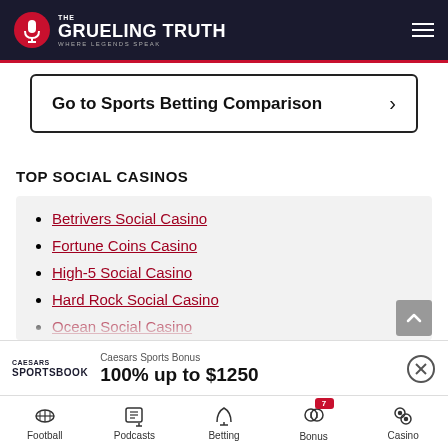The Grueling Truth — Where Legends Speak
Go to Sports Betting Comparison
TOP SOCIAL CASINOS
Betrivers Social Casino
Fortune Coins Casino
High-5 Social Casino
Hard Rock Social Casino
Ocean Social Casino
Caesars Sports Bonus
100% up to $1250
Football | Podcasts | Betting | Bonus 7 | Casino